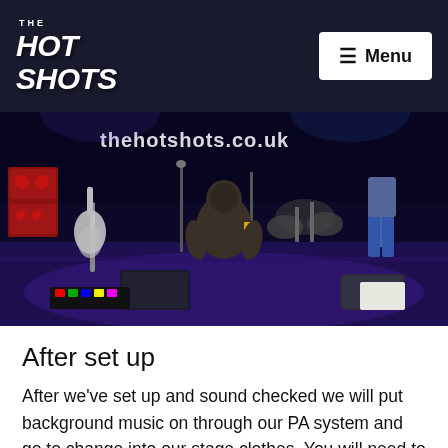THE HOT SHOTS — Menu
[Figure (photo): Band members setting up on stage with guitars, amplifiers, drum kit, and equipment cases. Text overlay reads 'thehotshots.co.uk'. Dark purple/blue stage lighting.]
After set up
After we've set up and sound checked we will put background music on through our PA system and go to change into our stage clothes. You will need to arrange for the venue to provide us with a secure changing room, and your catering to